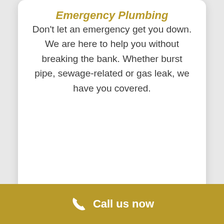Emergency Plumbing
Don't let an emergency get you down. We are here to help you without breaking the bank. Whether burst pipe, sewage-related or gas leak, we have you covered.
[Figure (illustration): Shower head icon with water droplets spraying, in dark gray/charcoal color]
Call us now